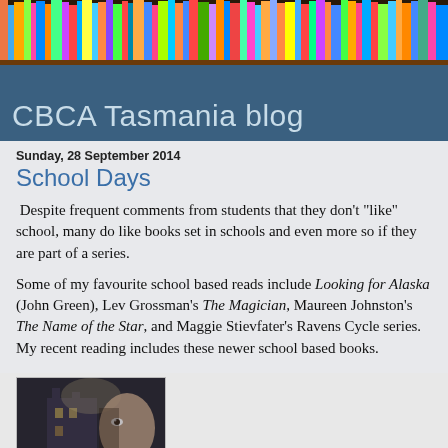[Figure (photo): Colorful bookshelf banner image showing rows of books]
CBCA Tasmania blog
Sunday, 28 September 2014
School Days
Despite frequent comments from students that they don't "like" school, many do like books set in schools and even more so if they are part of a series.
Some of my favourite school based reads include Looking for Alaska (John Green), Lev Grossman's The Magician, Maureen Johnston's The Name of the Star, and Maggie Stievfater's Ravens Cycle series. My recent reading includes these newer school based books.
[Figure (photo): Book cover image showing a dark atmospheric scene with a building and a face]